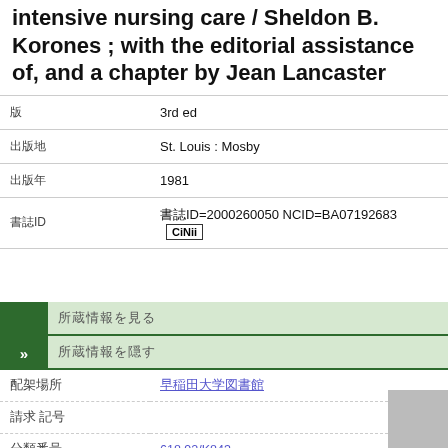intensive nursing care / Sheldon B. Korones ; with the editorial assistance of, and a chapter by Jean Lancaster
|  |  |
| --- | --- |
| 版 | 3rd ed |
| 出版地 | St. Louis : Mosby |
| 出版年 | 1981 |
| 書誌ID | 書誌ID=2000260050 NCID=BA07192683 CiNii |
所蔵情報を見る
所蔵情報を隠す
| 配架場所 |  |
| --- | --- |
| 配架場所 | 早稲田大学図書館 |
| 請求番号 |  |
| 分類番号 | 618.92/K843 |
| 資料番号 | 8620019917 |
| 状態 |  |